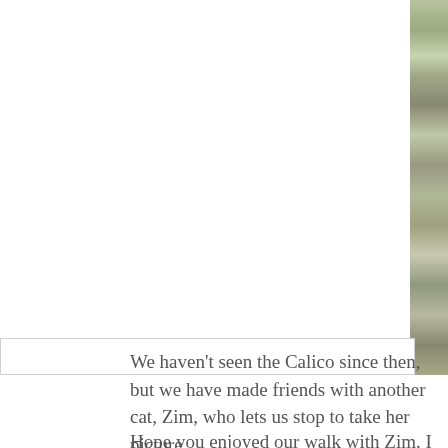[Figure (photo): A partial photo of what appears to be a cat (likely a calico or fluffy cat) visible on the right side of the page, cropped. The photo has a white mat/border around it on the left and bottom sides.]
We haven't seen the Calico since then, but we have made friends with another cat, Zim, who lets us stop to take her picture.
Hope you enjoyed our walk with Zim. I know I always love it